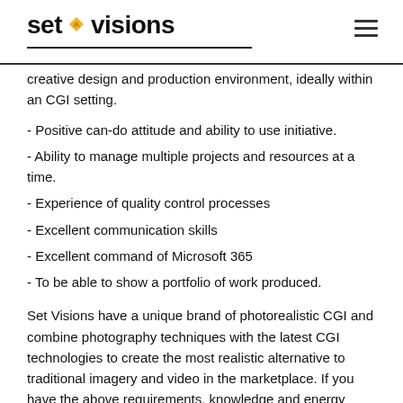set visions
creative design and production environment, ideally within an CGI setting.
- Positive can-do attitude and ability to use initiative.
- Ability to manage multiple projects and resources at a time.
- Experience of quality control processes
- Excellent communication skills
- Excellent command of Microsoft 365
- To be able to show a portfolio of work produced.
Set Visions have a unique brand of photorealistic CGI and combine photography techniques with the latest CGI technologies to create the most realistic alternative to traditional imagery and video in the marketplace. If you have the above requirements, knowledge and energy please apply now with your CV and coverling letter to